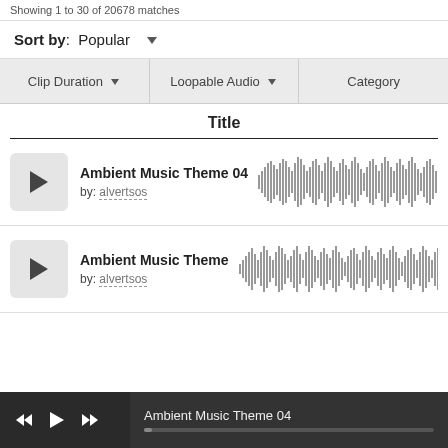Showing 1 to 30 of 20678 matches
Sort by : Popular
Clip Duration | Loopable Audio | Category
Title
Ambient Music Theme 04
by: alvertsos
[Figure (other): Audio waveform visualization for Ambient Music Theme 04]
Ambient Music Theme
by: alvertsos
[Figure (other): Audio waveform visualization for Ambient Music Theme]
Ambient Music Theme 04